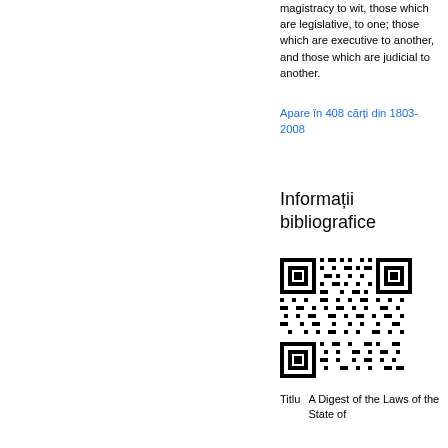magistracy to wit, those which are legislative, to one; those which are executive to another, and those which are judicial to another.
Apare în 408 cărți din 1803-2008
Informații bibliografice
[Figure (other): QR code for bibliographic information]
| Titlu | A Digest of the Laws of the State of |